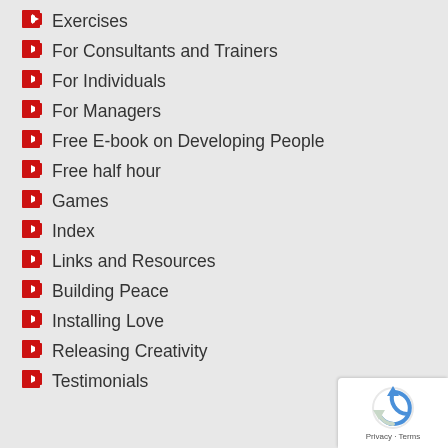Exercises
For Consultants and Trainers
For Individuals
For Managers
Free E-book on Developing People
Free half hour
Games
Index
Links and Resources
Building Peace
Installing Love
Releasing Creativity
Testimonials
[Figure (logo): reCAPTCHA privacy badge with circular arrow icon and Privacy · Terms text]